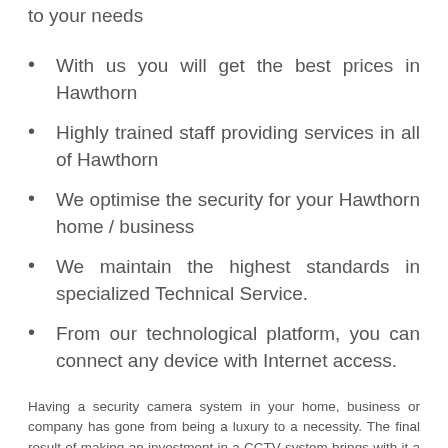to your needs
With us you will get the best prices in Hawthorn
Highly trained staff providing services in all of Hawthorn
We optimise the security for your Hawthorn home / business
We maintain the highest standards in specialized Technical Service.
From our technological platform, you can connect any device with Internet access.
Having a security camera system in your home, business or company has gone from being a luxury to a necessity. The final result of making an investment in a CCTV system brings with it a series of benefits, always